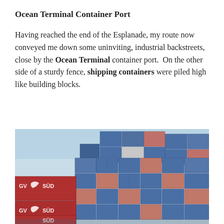Ocean Terminal Container Port
Having reached the end of the Esplanade, my route now conveyed me down some uninviting, industrial backstreets, close by the Ocean Terminal container port.  On the other side of a sturdy fence, shipping containers were piled high like building blocks.
[Figure (photo): Photograph of stacked shipping containers at a container port. Large blue containers dominate the upper portion, with red containers bearing the 'GV SÜD' logo visible on the lower left. Containers are stacked several rows high like building blocks.]